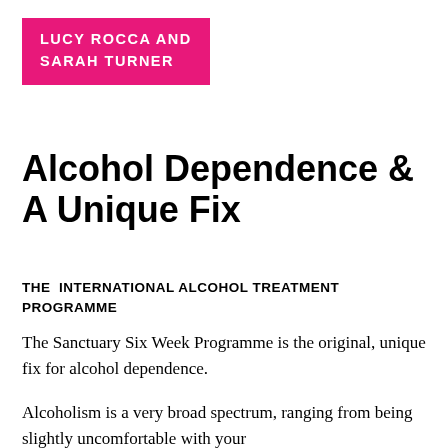LUCY ROCCA AND SARAH TURNER
Alcohol Dependence & A Unique Fix
THE  INTERNATIONAL ALCOHOL TREATMENT PROGRAMME
The Sanctuary Six Week Programme is the original, unique fix for alcohol dependence.
Alcoholism is a very broad spectrum, ranging from being slightly uncomfortable with your